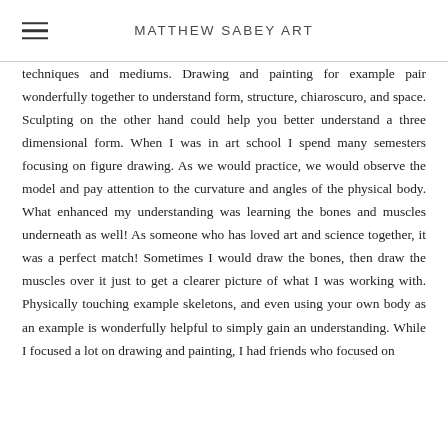MATTHEW SABEY ART
techniques and mediums. Drawing and painting for example pair wonderfully together to understand form, structure, chiaroscuro, and space. Sculpting on the other hand could help you better understand a three dimensional form. When I was in art school I spend many semesters focusing on figure drawing. As we would practice, we would observe the model and pay attention to the curvature and angles of the physical body. What enhanced my understanding was learning the bones and muscles underneath as well! As someone who has loved art and science together, it was a perfect match! Sometimes I would draw the bones, then draw the muscles over it just to get a clearer picture of what I was working with. Physically touching example skeletons, and even using your own body as an example is wonderfully helpful to simply gain an understanding. While I focused a lot on drawing and painting, I had friends who focused on